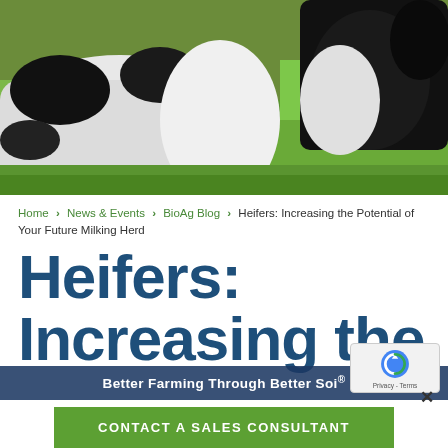[Figure (photo): Close-up photo of black and white dairy cows grazing on bright green grass]
Home > News & Events > BioAg Blog > Heifers: Increasing the Potential of Your Future Milking Herd
Heifers: Increasing the
Better Farming Through Better Soil.®
CONTACT A SALES CONSULTANT